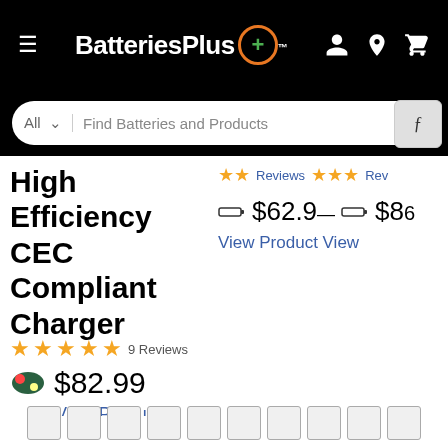BatteriesPlus+ (navigation header with search bar)
High Efficiency CEC Compliant Charger
★★★★★ 9 Reviews
$82.99
View Product
Reviews ★★★ $62.9— $86 View Product View
Pagination boxes